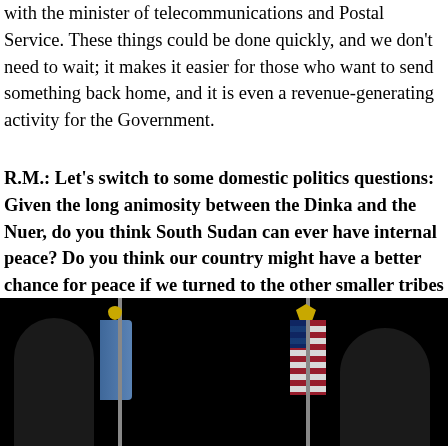with the minister of telecommunications and Postal Service. These things could be done quickly, and we don't need to wait; it makes it easier for those who want to send something back home, and it is even a revenue-generating activity for the Government.
R.M.: Let's switch to some domestic politics questions: Given the long animosity between the Dinka and the Nuer, do you think South Sudan can ever have internal peace? Do you think our country might have a better chance for peace if we turned to the other smaller tribes for leadership?
[Figure (photo): Dark photograph showing two figures near flags including a blue flag and an American flag against a black background.]